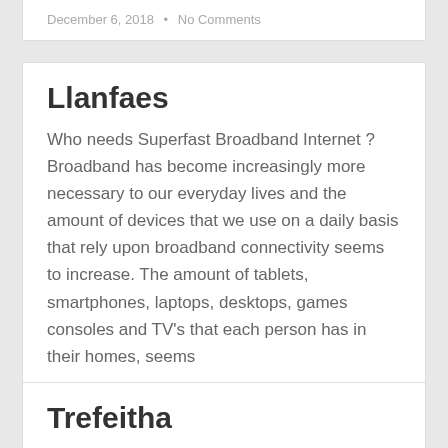December 6, 2018  •  No Comments
Llanfaes
Who needs Superfast Broadband Internet ? Broadband has become increasingly more necessary to our everyday lives and the amount of devices that we use on a daily basis that rely upon broadband connectivity seems to increase. The amount of tablets, smartphones, laptops, desktops, games consoles and TV's that each person has in their homes, seems
August 12, 2019  •  No Comments
Trefeitha